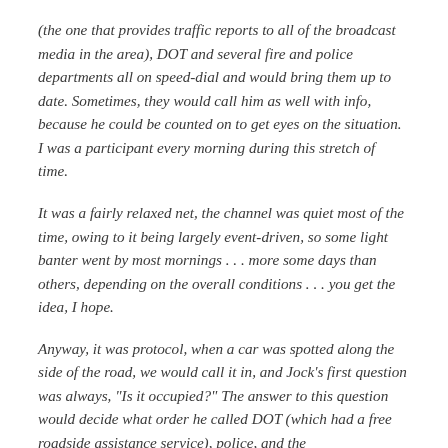(the one that provides traffic reports to all of the broadcast media in the area), DOT and several fire and police departments all on speed-dial and would bring them up to date. Sometimes, they would call him as well with info, because he could be counted on to get eyes on the situation. I was a participant every morning during this stretch of time.
It was a fairly relaxed net, the channel was quiet most of the time, owing to it being largely event-driven, so some light banter went by most mornings . . . more some days than others, depending on the overall conditions . . . you get the idea, I hope.
Anyway, it was protocol, when a car was spotted along the side of the road, we would call it in, and Jock's first question was always, "Is it occupied?" The answer to this question would decide what order he called DOT (which had a free roadside assistance service), police, and the